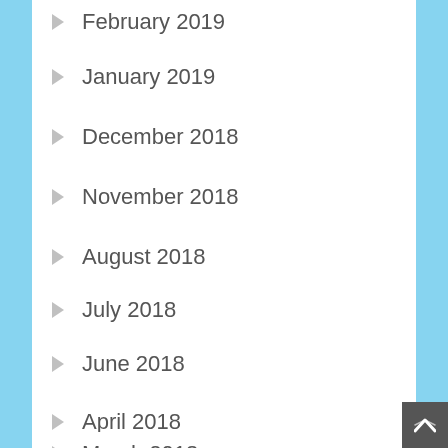February 2019
January 2019
December 2018
November 2018
August 2018
July 2018
June 2018
May 2018
April 2018
March 2018